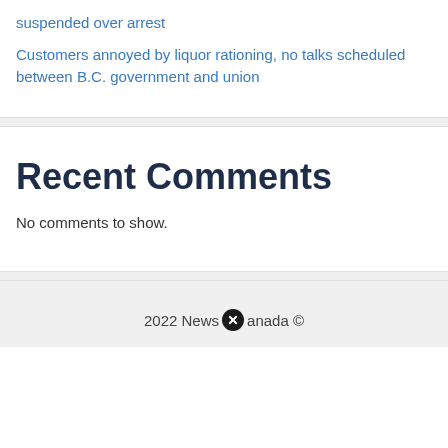suspended over arrest
Customers annoyed by liquor rationing, no talks scheduled between B.C. government and union
Recent Comments
No comments to show.
2022 News Canada ©